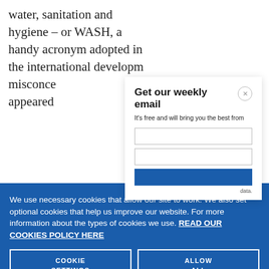water, sanitation and hygiene – or WASH, a handy acronym adopted in the international developm... misconce... appeared...
Get our weekly email
It's free and will bring you the best from
We use necessary cookies that allow our site to work. We also set optional cookies that help us improve our website. For more information about the types of cookies we use. READ OUR COOKIES POLICY HERE
COOKIE SETTINGS
ALLOW ALL COOKIES
data.